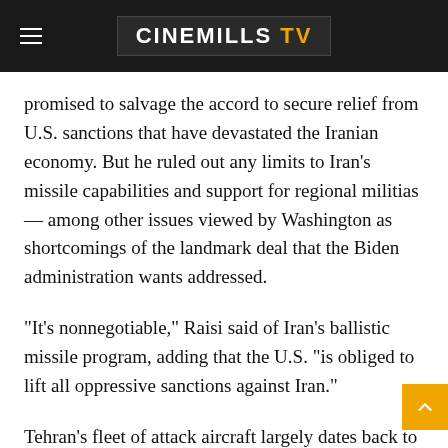CINEMILLS TV
promised to salvage the accord to secure relief from U.S. sanctions that have devastated the Iranian economy. But he ruled out any limits to Iran's missile capabilities and support for regional militias — among other issues viewed by Washington as shortcomings of the landmark deal that the Biden administration wants addressed.
“It's nonnegotiable,” Raisi said of Iran's ballistic missile program, adding that the U.S. “is obliged to lift all oppressive sanctions against Iran.”
Tehran’s fleet of attack aircraft largely dates back to before the 1979 Islamic Revolution, forcing Iran to